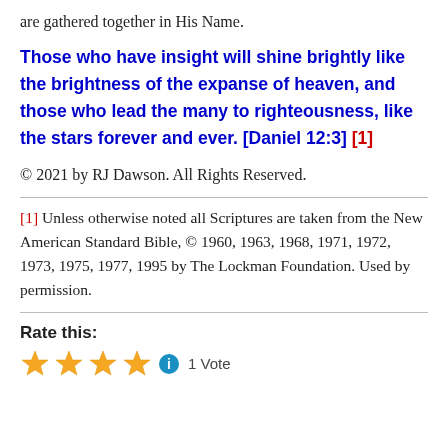are gathered together in His Name.
Those who have insight will shine brightly like the brightness of the expanse of heaven, and those who lead the many to righteousness, like the stars forever and ever. [Daniel 12:3] [1]
© 2021 by RJ Dawson. All Rights Reserved.
[1] Unless otherwise noted all Scriptures are taken from the New American Standard Bible, © 1960, 1963, 1968, 1971, 1972, 1973, 1975, 1977, 1995 by The Lockman Foundation. Used by permission.
Rate this:
★★★★ ℹ 1 Vote